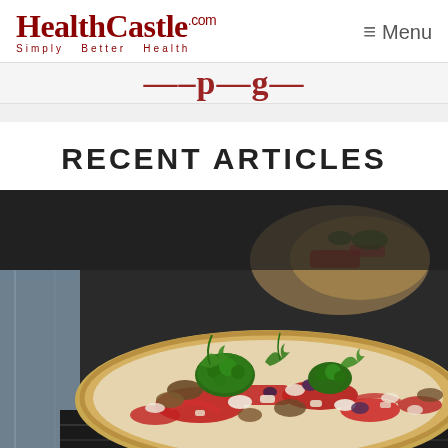HealthCastle.com Simply Better Health | Menu
RECENT ARTICLES
[Figure (photo): Close-up photograph of a vegetable pizza topped with broccoli, red peppers, mushrooms, herbs, and white cheese on a flatbread crust, with another pizza blurred in the background]